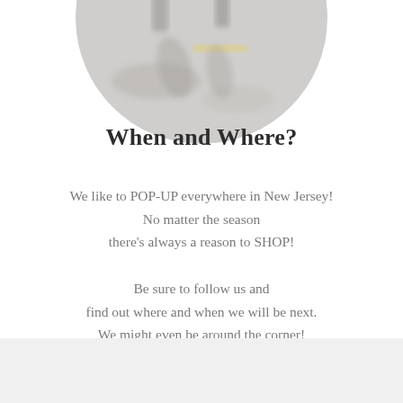[Figure (photo): Circular cropped photo of people walking on a street, blurred/bokeh style background with pavement and shadows]
When and Where?
We like to POP-UP everywhere in New Jersey!
No matter the season
there's always a reason to SHOP!
Be sure to follow us and
find out where and when we will be next.
We might even be around the corner!